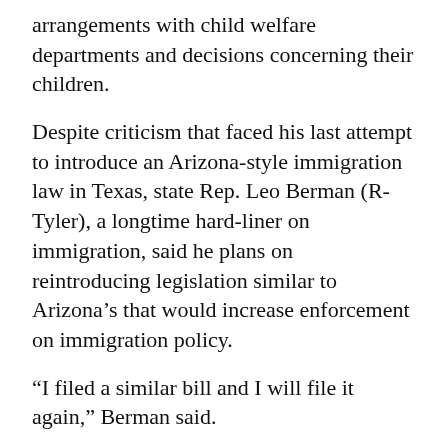arrangements with child welfare departments and decisions concerning their children.
Despite criticism that faced his last attempt to introduce an Arizona-style immigration law in Texas, state Rep. Leo Berman (R-Tyler), a longtime hard-liner on immigration, said he plans on reintroducing legislation similar to Arizona's that would increase enforcement on immigration policy.
“I filed a similar bill and I will file it again,” Berman said.
But Berman did say it’s important to keep families together.
Under his bill, he said, “children will not be separated